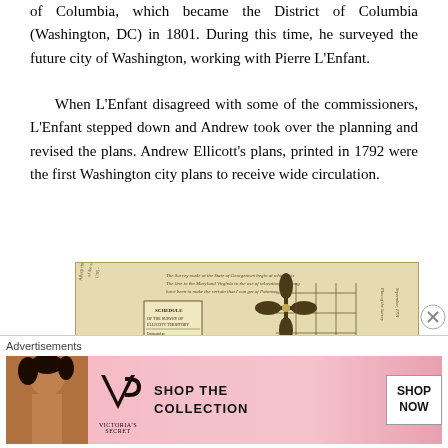of Columbia, which became the District of Columbia (Washington, DC) in 1801. During this time, he surveyed the future city of Washington, working with Pierre L'Enfant. When L'Enfant disagreed with some of the commissioners, L'Enfant stepped down and Andrew took over the planning and revised the plans. Andrew Ellicott's plans, printed in 1792 were the first Washington city plans to receive wide circulation.
[Figure (illustration): An old hand-drawn map or survey document, appearing to be a historic surveying document related to Washington DC. Shows a compass rose/north symbol, grid lines, handwritten text and notations, and what appears to be a small inset box with additional text. The document has a yellowed, aged appearance.]
Advertisements
[Figure (illustration): Victoria's Secret advertisement banner. Shows a model with curly hair on the left, Victoria's Secret logo in the center-left, and 'SHOP THE COLLECTION' text with a 'SHOP NOW' button on the right. Pink/rose background color.]